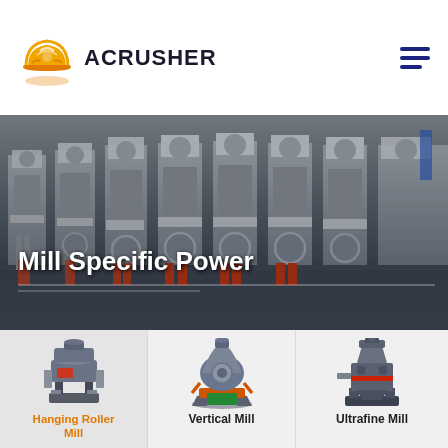[Figure (logo): Acrusher company logo - orange hard hat icon with ACRUSHER text]
[Figure (photo): Industrial photo of multiple large grinding mill machines in a factory/warehouse setting - grey metal machinery in a row]
Mill Specific Power
[Figure (photo): Hanging Roller Mill product photo - small industrial mill machine]
Hanging Roller Mill
[Figure (photo): Vertical Mill product photo - large blue/grey vertical mill machine with orange accents]
Vertical Mill
[Figure (photo): Ultrafine Mill product photo - grey ultrafine grinding mill machine]
Ultrafine Mill